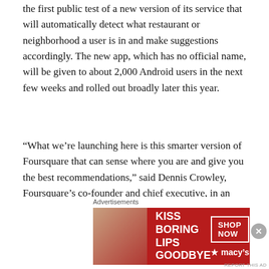the first public test of a new version of its service that will automatically detect what restaurant or neighborhood a user is in and make suggestions accordingly. The new app, which has no official name, will be given to about 2,000 Android users in the next few weeks and rolled out broadly later this year.
“What we’re launching here is this smarter version of Foursquare that can sense where you are and give you the best recommendations,” said Dennis Crowley, Foursquare’s co-founder and chief executive, in an interview. He said it would be as if you got all of the advice from all of your friends, shrunk down into a single voice that whispers the most relevant information, unbidden, as
Advertisements
[Figure (photo): Macy's advertisement banner with red background showing 'KISS BORING LIPS GOODBYE' text, a woman's face with red lipstick, a 'SHOP NOW' button and Macy's star logo]